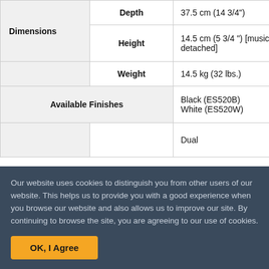| Category | Sub-category | Value |
| --- | --- | --- |
| Dimensions | Depth | 37.5 cm (14 3/4") |
| Dimensions | Height | 14.5 cm (5 3/4 ") [music rest detached] |
|  | Weight | 14.5 kg (32 lbs.) |
| Available Finishes |  | Black (ES520B)
White (ES520W) |
|  |  | Dual |
Our website uses cookies to distinguish you from other users of our website. This helps us to provide you with a good experience when you browse our website and also allows us to improve our site. By continuing to browse the site, you are agreeing to our use of cookies.
OK, I Agree